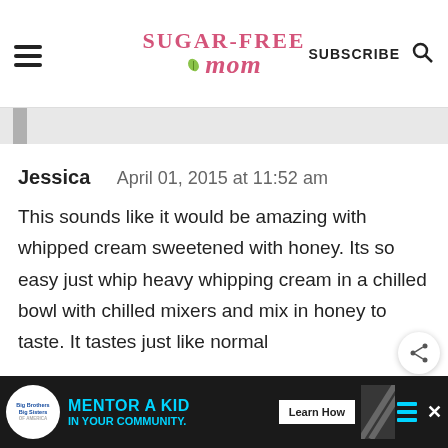Sugar-Free Mom — SUBSCRIBE
[Figure (screenshot): Partial image strip thumbnail on gray background]
Jessica    April 01, 2015 at 11:52 am
This sounds like it would be amazing with whipped cream sweetened with honey. Its so easy just whip heavy whipping cream in a chilled bowl with chilled mixers and mix in honey to taste. It tastes just like normal
[Figure (infographic): Big Brothers Big Sisters advertisement banner: MENTOR A KID IN YOUR COMMUNITY. Learn How button.]